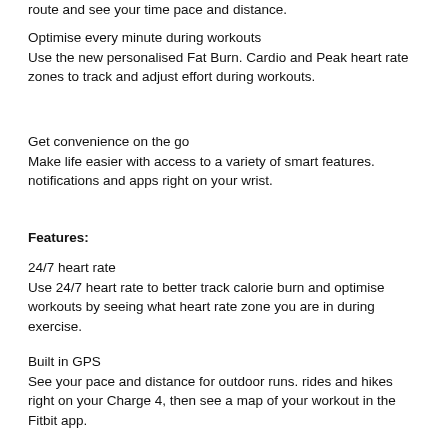route and see your time pace and distance.
Optimise every minute during workouts
Use the new personalised Fat Burn. Cardio and Peak heart rate zones to track and adjust effort during workouts.
Get convenience on the go
Make life easier with access to a variety of smart features. notifications and apps right on your wrist.
Features:
24/7 heart rate
Use 24/7 heart rate to better track calorie burn and optimise workouts by seeing what heart rate zone you are in during exercise.
Built in GPS
See your pace and distance for outdoor runs. rides and hikes right on your Charge 4, then see a map of your workout in the Fitbit app.
Active zone minutes
This feature alerts you to which heart rate zone you're in so you